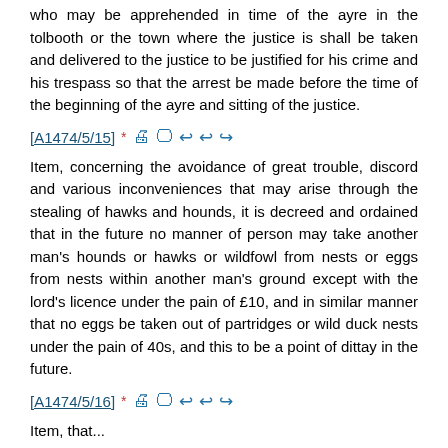who may be apprehended in time of the ayre in the tolbooth or the town where the justice is shall be taken and delivered to the justice to be justified for his crime and his trespass so that the arrest be made before the time of the beginning of the ayre and sitting of the justice.
[A1474/5/15]* [icons]
Item, concerning the avoidance of great trouble, discord and various inconveniences that may arise through the stealing of hawks and hounds, it is decreed and ordained that in the future no manner of person may take another man's hounds or hawks or wildfowl from nests or eggs from nests within another man's ground except with the lord's licence under the pain of £10, and in similar manner that no eggs be taken out of partridges or wild duck nests under the pain of 40s, and this to be a point of dittay in the future.
[A1474/5/16]* [icons]
Item, that...